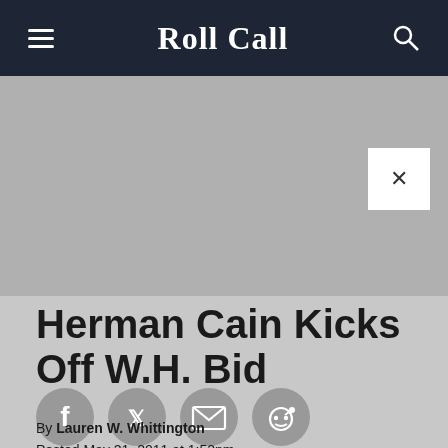Roll Call
Herman Cain Kicks Off W.H. Bid
[Figure (other): Social sharing icons row: Facebook, Twitter, Email, Reddit]
By Lauren W. Whittington
Posted May 21, 2011 at 1:52pm